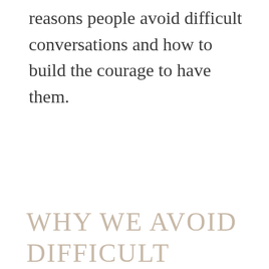reasons people avoid difficult conversations and how to build the courage to have them.
WHY WE AVOID DIFFICULT